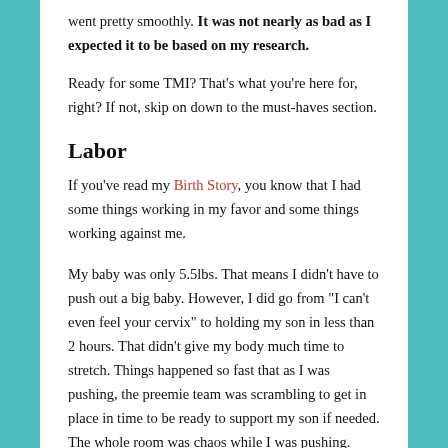went pretty smoothly. It was not nearly as bad as I expected it to be based on my research.
Ready for some TMI? That's what you're here for, right? If not, skip on down to the must-haves section.
Labor
If you've read my Birth Story, you know that I had some things working in my favor and some things working against me.
My baby was only 5.5lbs. That means I didn't have to push out a big baby. However, I did go from "I can't even feel your cervix" to holding my son in less than 2 hours. That didn't give my body much time to stretch. Things happened so fast that as I was pushing, the preemie team was scrambling to get in place in time to be ready to support my son if needed. The whole room was chaos while I was pushing. Thankfully, he was just fine. I ended up having to...